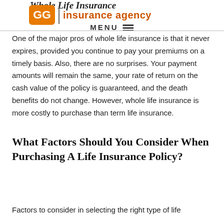Goebel Insurance Agency | MENU
One of the major pros of whole life insurance is that it never expires, provided you continue to pay your premiums on a timely basis. Also, there are no surprises. Your payment amounts will remain the same, your rate of return on the cash value of the policy is guaranteed, and the death benefits do not change. However, whole life insurance is more costly to purchase than term life insurance.
What Factors Should You Consider When Purchasing A Life Insurance Policy?
Factors to consider in selecting the right type of life